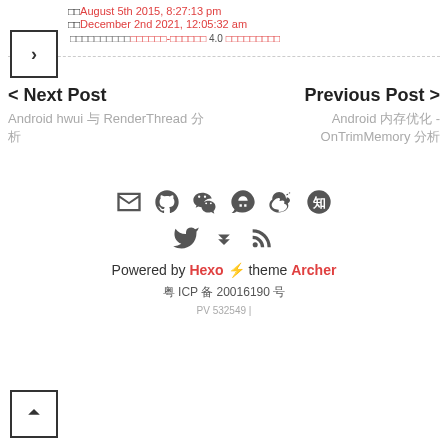August 5th 2015, 8:27:13 pm
December 2nd 2021, 12:05:32 am
知识共享-署名 4.0 国际许可协议
< Next Post — Android hwui 与 RenderThread 分析
Previous Post > — Android 内存优化 - OnTrimMemory 分析
[Figure (other): Social media icons row 1: email, github, wechat, qq, weibo, zhihu]
[Figure (other): Social media icons row 2: twitter, feedly, rss]
Powered by Hexo ⚡ theme Archer
粤 ICP 备 20016190 号
PV 532549 |